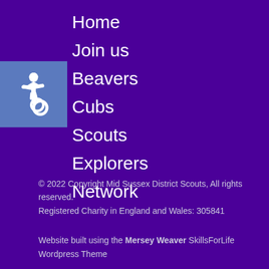[Figure (illustration): Blue accessibility/wheelchair icon in a blue square box]
Home
Join us
Beavers
Cubs
Scouts
Explorers
Network
© 2022 Copyright Mid Sussex District Scouts, All rights reserved. Registered Charity in England and Wales: 305841
Website built using the Mersey Weaver SkillsForLife Wordpress Theme